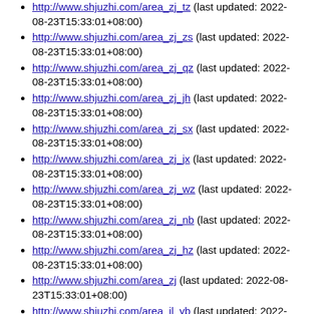http://www.shjuzhi.com/area_zj_tz (last updated: 2022-08-23T15:33:01+08:00)
http://www.shjuzhi.com/area_zj_zs (last updated: 2022-08-23T15:33:01+08:00)
http://www.shjuzhi.com/area_zj_qz (last updated: 2022-08-23T15:33:01+08:00)
http://www.shjuzhi.com/area_zj_jh (last updated: 2022-08-23T15:33:01+08:00)
http://www.shjuzhi.com/area_zj_sx (last updated: 2022-08-23T15:33:01+08:00)
http://www.shjuzhi.com/area_zj_jx (last updated: 2022-08-23T15:33:01+08:00)
http://www.shjuzhi.com/area_zj_wz (last updated: 2022-08-23T15:33:01+08:00)
http://www.shjuzhi.com/area_zj_nb (last updated: 2022-08-23T15:33:01+08:00)
http://www.shjuzhi.com/area_zj_hz (last updated: 2022-08-23T15:33:01+08:00)
http://www.shjuzhi.com/area_zj (last updated: 2022-08-23T15:33:01+08:00)
http://www.shjuzhi.com/area_jl_yb (last updated: 2022-08-23T15:33:01+08:00)
http://www.shjuzhi.com/area_jl_bc (last updated: 2022-08-23T15:33:01+08:00)
http://www.shjuzhi.com/area_jl_sy (last updated: 2022-08-23T15:33:01+08:00)